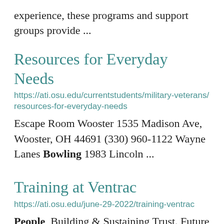experience, these programs and support groups provide ...
Resources for Everyday Needs
https://ati.osu.edu/currentstudents/military-veterans/resources-for-everyday-needs
Escape Room Wooster 1535 Madison Ave, Wooster, OH 44691 (330) 960-1122 Wayne Lanes Bowling 1983 Lincoln ...
Training at Ventrac
https://ati.osu.edu/june-29-2022/training-ventrac
People, Building & Sustaining Trust. Future sessions include: Leading Teams/Achieve more Together, ... Master your